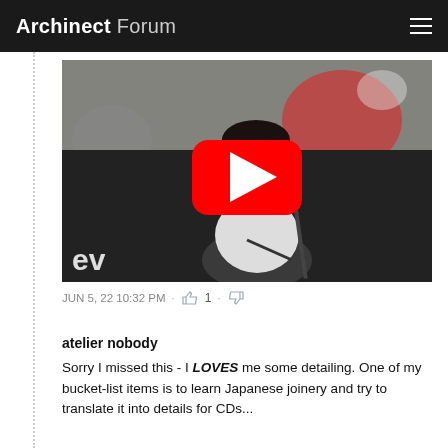Archinect Forum
[Figure (screenshot): YouTube video thumbnail showing a musician singing/playing at a microphone with a YouTube play button overlay. Bottom-left shows 'ev' watermark text.]
JUN 5, 22 10:32 PM · 👍 1 · 👎
atelier nobody
Sorry I missed this - I LOVES me some detailing. One of my bucket-list items is to learn Japanese joinery and try to translate it into details for CDs...